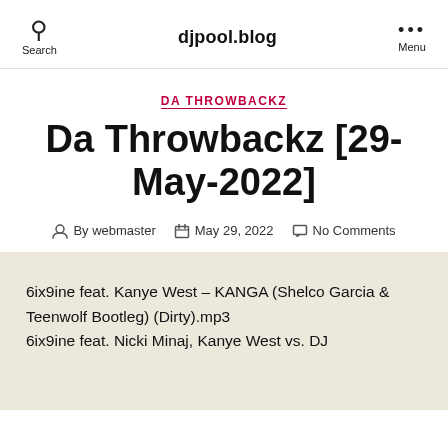djpool.blog
DA THROWBACKZ
Da Throwbackz [29-May-2022]
By webmaster  May 29, 2022  No Comments
6ix9ine feat. Kanye West – KANGA (Shelco Garcia & Teenwolf Bootleg) (Dirty).mp3
6ix9ine feat. Nicki Minaj, Kanye West vs. DJ